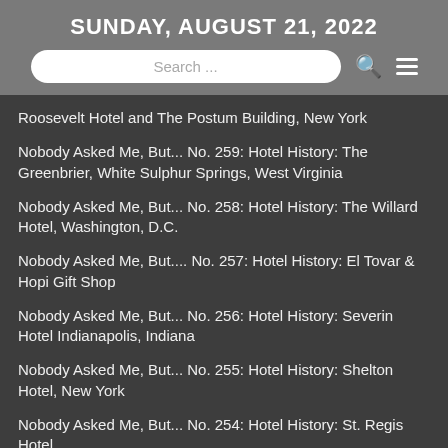SUNDAY, AUGUST 21, 2022
[Figure (other): Search bar with search icon and hamburger menu icon]
Roosevelt Hotel and The Postum Building, New York
Nobody Asked Me, But... No. 259: Hotel History: The Greenbrier, White Sulphur Springs, West Virginia
Nobody Asked Me, But... No. 258: Hotel History: The Willard Hotel, Washington, D.C.
Nobody Asked Me, But.... No. 257: Hotel History: El Tovar & Hopi Gift Shop
Nobody Asked Me, But... No. 256: Hotel History: Severin Hotel Indianapolis, Indiana
Nobody Asked Me, But... No. 255: Hotel History: Shelton Hotel, New York
Nobody Asked Me, But... No. 254: Hotel History: St. Regis Hotel
Nobody Asked Me, But... No. 253; Hotel History: Hotel